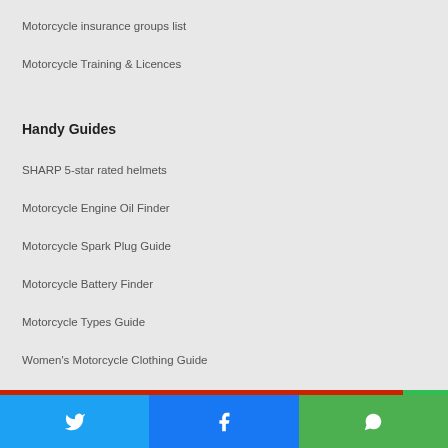Motorcycle insurance groups list
Motorcycle Training & Licences
Handy Guides
SHARP 5-star rated helmets
Motorcycle Engine Oil Finder
Motorcycle Spark Plug Guide
Motorcycle Battery Finder
Motorcycle Types Guide
Women's Motorcycle Clothing Guide
[Figure (other): Social share buttons: Twitter (blue), Facebook (blue), WhatsApp (green), with a red/green bar above]